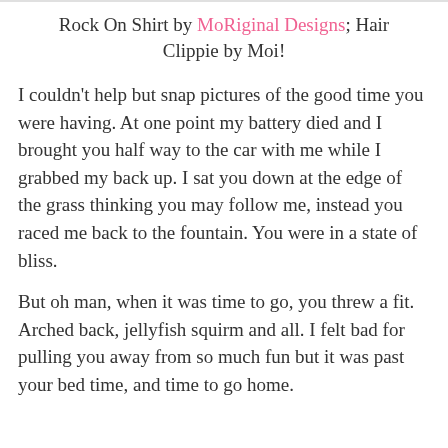Rock On Shirt by MoRiginal Designs; Hair Clippie by Moi!
I couldn't help but snap pictures of the good time you were having. At one point my battery died and I brought you half way to the car with me while I grabbed my back up. I sat you down at the edge of the grass thinking you may follow me, instead you raced me back to the fountain. You were in a state of bliss.
But oh man, when it was time to go, you threw a fit. Arched back, jellyfish squirm and all. I felt bad for pulling you away from so much fun but it was past your bed time, and time to go home.